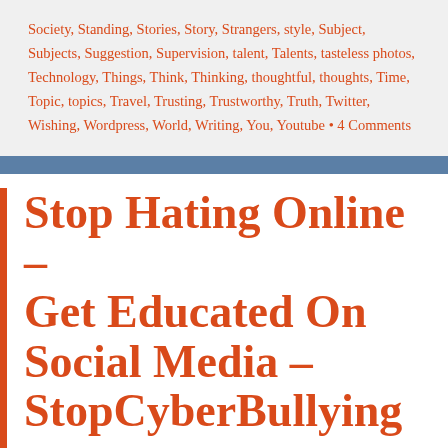Society, Standing, Stories, Story, Strangers, style, Subject, Subjects, Suggestion, Supervision, talent, Talents, tasteless photos, Technology, Things, Think, Thinking, thoughtful, thoughts, Time, Topic, topics, Travel, Trusting, Trustworthy, Truth, Twitter, Wishing, Wordpress, World, Writing, You, Youtube • 4 Comments
Stop Hating Online – Get Educated On Social Media – StopCyberBullying
Posted on January 22, 2014